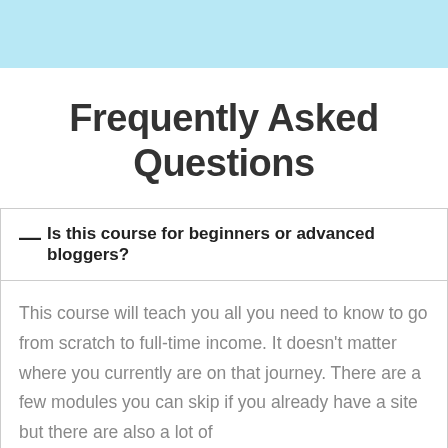Frequently Asked Questions
— Is this course for beginners or advanced bloggers?
This course will teach you all you need to know to go from scratch to full-time income. It doesn't matter where you currently are on that journey. There are a few modules you can skip if you already have a site but there are also a lot of